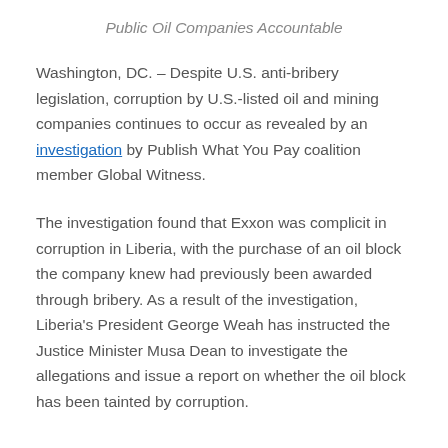Public Oil Companies Accountable
Washington, DC. – Despite U.S. anti-bribery legislation, corruption by U.S.-listed oil and mining companies continues to occur as revealed by an investigation by Publish What You Pay coalition member Global Witness.
The investigation found that Exxon was complicit in corruption in Liberia, with the purchase of an oil block the company knew had previously been awarded through bribery. As a result of the investigation, Liberia’s President George Weah has instructed the Justice Minister Musa Dean to investigate the allegations and issue a report on whether the oil block has been tainted by corruption.